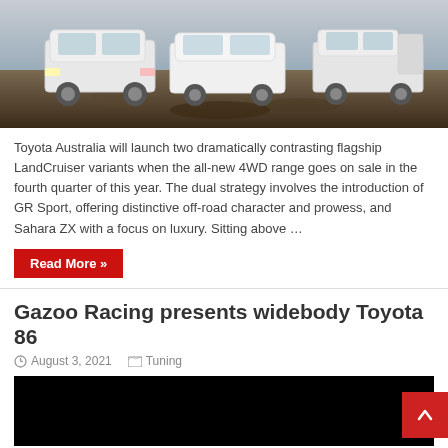[Figure (photo): Three white Toyota LandCruiser SUVs parked on rough terrain with dirt and rocks, photographed from the front. The vehicles are positioned side by side in an outdoor rugged setting.]
Toyota Australia will launch two dramatically contrasting flagship LandCruiser variants when the all-new 4WD range goes on sale in the fourth quarter of this year. The dual strategy involves the introduction of GR Sport, offering distinctive off-road character and prowess, and Sahara ZX with a focus on luxury. Sitting above …
Read More »
Gazoo Racing presents widebody Toyota 86
August 3, 2021   Tuning
[Figure (photo): Dark/black image, likely a video thumbnail or dark photograph related to the Gazoo Racing widebody Toyota 86 article.]